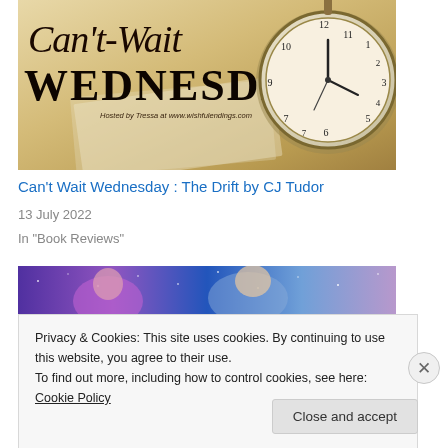[Figure (illustration): Can't Wait Wednesday blog banner with cursive and bold serif text 'Can't Wait Wednesday' on a warm golden background with a pocket watch illustration. Text 'Hosted by Tressa at www.wishfulendings.com' in small italic.]
Can't Wait Wednesday : The Drift by CJ Tudor
13 July 2022
In "Book Reviews"
[Figure (illustration): Colorful fantasy book cover banner showing two women against a cosmic blue/purple background with stars.]
Privacy & Cookies: This site uses cookies. By continuing to use this website, you agree to their use.
To find out more, including how to control cookies, see here: Cookie Policy
Close and accept